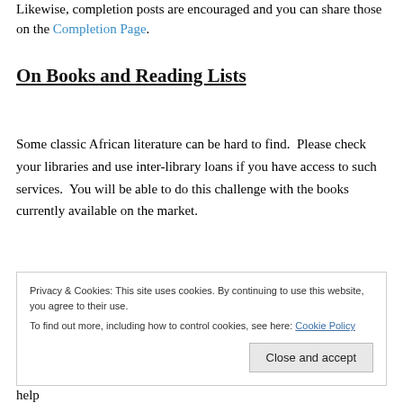Likewise, completion posts are encouraged and you can share those on the Completion Page.
On Books and Reading Lists
Some classic African literature can be hard to find.  Please check your libraries and use inter-library loans if you have access to such services.  You will be able to do this challenge with the books currently available on the market.
Privacy & Cookies: This site uses cookies. By continuing to use this website, you agree to their use.
To find out more, including how to control cookies, see here: Cookie Policy
help